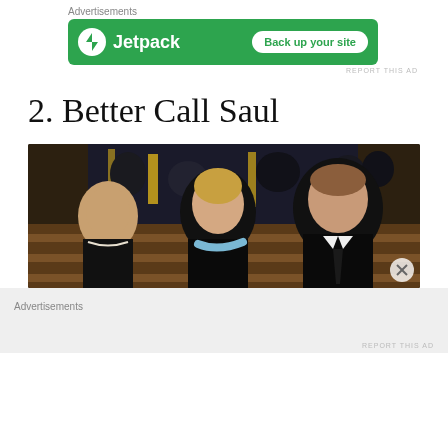Advertisements
[Figure (screenshot): Jetpack advertisement banner on green background with 'Back up your site' button]
REPORT THIS AD
2. Better Call Saul
[Figure (photo): Scene from Better Call Saul showing characters seated in what appears to be a courtroom or auditorium, with a woman in blue scarf and a man in a suit prominently in the foreground]
Advertisements
REPORT THIS AD